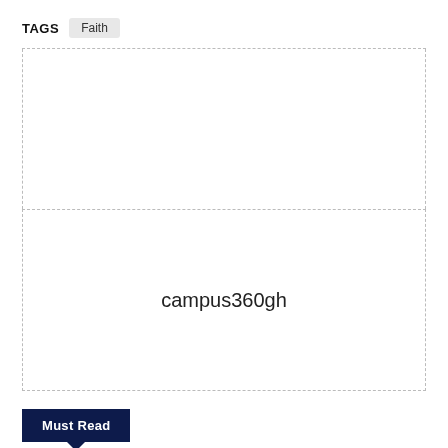TAGS   Faith
[Figure (other): Empty placeholder image area with dashed border containing watermark text 'campus360gh']
Must Read